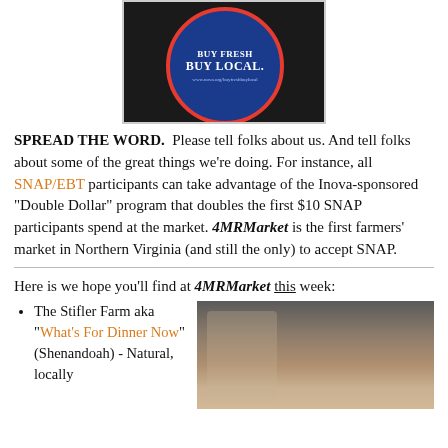[Figure (photo): A blue circular sticker with red border reading 'BUY FRESH BUY LOCAL' on a dark background, with website URL www.nova.org/buyfreshbuylocal]
SPREAD THE WORD. Please tell folks about us. And tell folks about some of the great things we're doing. For instance, all SNAP/EBT participants can take advantage of the Inova-sponsored "Double Dollar" program that doubles the first $10 SNAP participants spend at the market. 4MRMarket is the first farmers' market in Northern Virginia (and still the only) to accept SNAP.
Here is we hope you'll find at 4MRMarket this week:
The Stifler Farm aka "What's For Dinner Now" (Shenandoah) - Natural, locally
[Figure (photo): A close-up photo of a person holding a book or pamphlet with colorful cover, indoors]